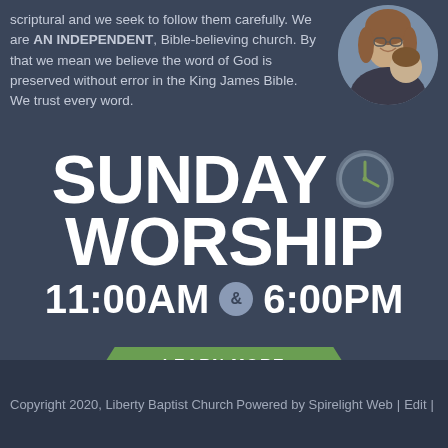scriptural and we seek to follow them carefully. We are AN INDEPENDENT, Bible-believing church. By that we mean we believe the word of God is preserved without error in the King James Bible. We trust every word.
[Figure (photo): Circular cropped photo of a woman smiling holding a child]
SUNDAY WORSHIP
11:00AM & 6:00PM
LEARN MORE
Copyright 2020, Liberty Baptist Church    Powered by Spirelight Web | Edit